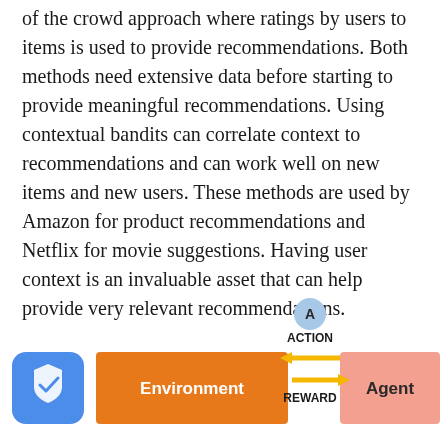of the crowd approach where ratings by users to items is used to provide recommendations. Both methods need extensive data before starting to provide meaningful recommendations. Using contextual bandits can correlate context to recommendations and can work well on new items and new users. These methods are used by Amazon for product recommendations and Netflix for movie suggestions. Having user context is an invaluable asset that can help provide very relevant recommendations.
[Figure (flowchart): A reinforcement learning diagram showing an Agent and Environment connected by ACTION (arrow pointing left) and REWARD (arrow pointing right). A circle labeled 'A' sits above the arrows. A blue shield icon is on the left side.]